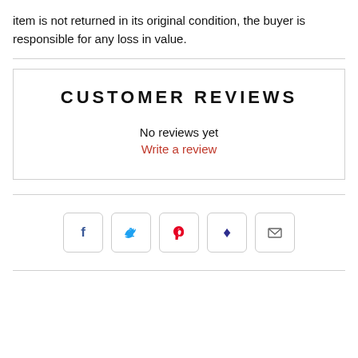item is not returned in its original condition, the buyer is responsible for any loss in value.
CUSTOMER REVIEWS
No reviews yet
Write a review
[Figure (other): Social sharing buttons: Facebook, Twitter, Pinterest, Fancy, Email]